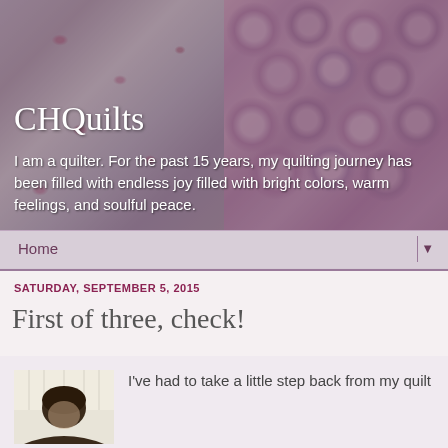[Figure (photo): Blog header banner showing two quilt images: left side shows white fabric with small pink/magenta floral pattern, right side shows pink-purple bumpy textured quilt with circular quilting pattern]
CHQuilts
I am a quilter. For the past 15 years, my quilting journey has been filled with endless joy filled with bright colors, warm feelings, and soulful peace.
Home ▼
SATURDAY, SEPTEMBER 5, 2015
First of three, check!
[Figure (photo): Partial photo of a person's head/face from below, visible from shoulders up, with light curtains in background]
I've had to take a little step back from my quilt